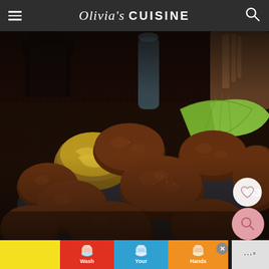Olivia's CUISINE
[Figure (photo): Close-up photo of fried croquettes (breaded and fried food balls) piled on a dark plate, served with mustard dipping sauce in a small wooden bowl and lime wedges. Background shows a dark beer glass and wooden whisk. Number 443 visible in lower right corner.]
[Figure (other): Advertisement banner showing 'Wash Your Hands Often' with colorful handwashing icons on red, yellow, blue, and brown/black backgrounds. Close button (X) visible. Right side shows a gray panel with dotted menu indicator.]